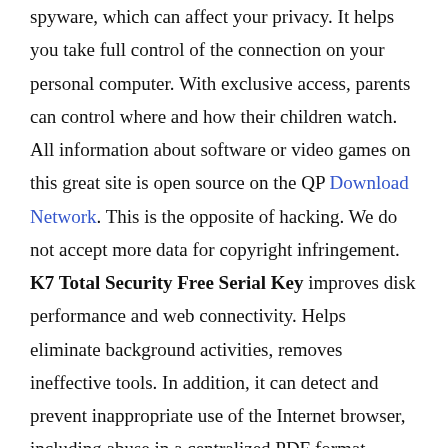spyware, which can affect your privacy. It helps you take full control of the connection on your personal computer. With exclusive access, parents can control where and how their children watch. All information about software or video games on this great site is open source on the QP Download Network. This is the opposite of hacking. We do not accept more data for copyright infringement. K7 Total Security Free Serial Key improves disk performance and web connectivity. Helps eliminate background activities, removes ineffective tools. In addition, it can detect and prevent inappropriate use of the Internet browser, including abuse in a centralized PDF format. Many people prefer this security system because it is more reliable than other methods.